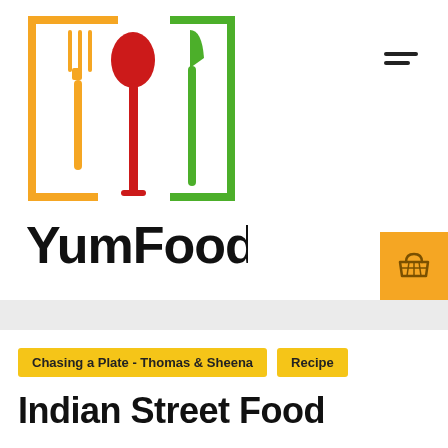[Figure (logo): YumFoody logo with orange fork, red spoon, green knife in brackets, and 'YumFoody' text below]
Chasing a Plate - Thomas & Sheena
Recipe
Indian Street Food